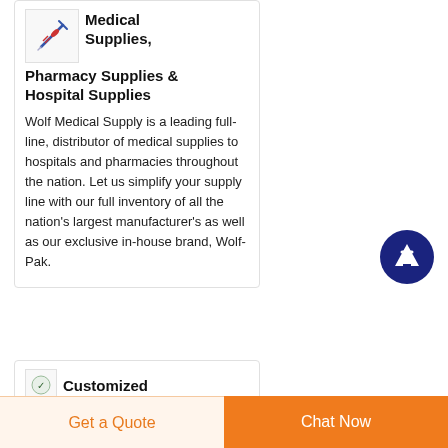[Figure (illustration): Small logo/image showing medical supplies (syringes/pills)]
Medical Supplies, Pharmacy Supplies & Hospital Supplies
Wolf Medical Supply is a leading full-line, distributor of medical supplies to hospitals and pharmacies throughout the nation. Let us simplify your supply line with our full inventory of all the nation's largest manufacturer's as well as our exclusive in-house brand, Wolf-Pak.
[Figure (illustration): Scroll to top button - dark blue circle with white upward arrow]
[Figure (illustration): Small icon for Customized section]
Customized
Get a Quote
Chat Now